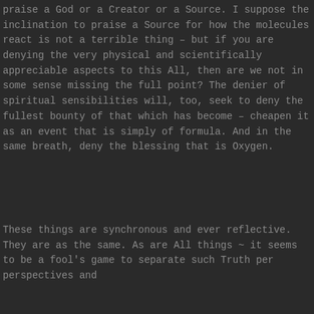praise a God or a Creator or a Source. I suppose the inclination to praise a Source for how the molecules react is not a terrible thing – but if you are denying the very physical and scientifically appreciable aspects to this All, then are we not in some sense missing the full point? The denier of spiritual sensibilities will, too, seek to deny the fullest bounty of that which has become – cheapen it as an event that is simply of formula. And in the same breath, deny the blessing that is Oxygen.
These things are synchronous and ever reflective. They are as the same. As are All things ~ it seems to be a fool's game to separate such Truth per perspectives and